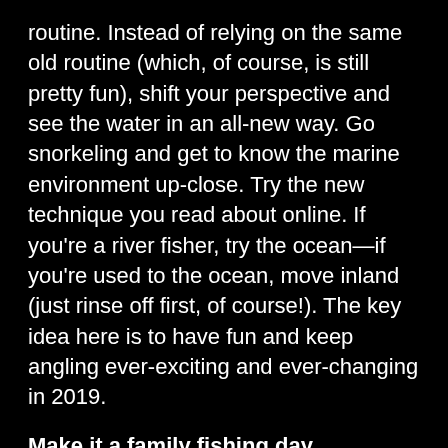routine. Instead of relying on the same old routine (which, of course, is still pretty fun), shift your perspective and see the water in an all-new way. Go snorkeling and get to know the marine environment up-close. Try the new technique you read about online. If you're a river fisher, try the ocean—if you're used to the ocean, move inland (just rinse off first, of course!). The key idea here is to have fun and keep angling ever-exciting and ever-changing in 2019.
Make it a family fishing day
Sometimes, a solo fishing trip is just what you need to clear the mind. But don't be afraid to take family or friends along for the fun! Teaching someone how to fish is a great treasure—but even if they're not fishing, your crewmates can spread out on board and enjoy